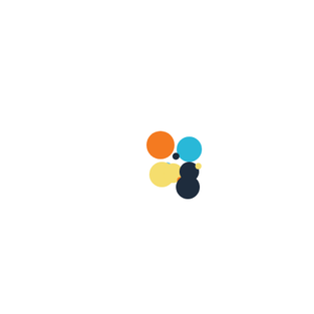[Figure (logo): A colorful logo made of overlapping circles arranged in a cluster. Orange circle top-left, cyan/teal circle top-right, small dark navy dot in the center-top, small light blue dot center-left, yellow circle bottom-left, small orange dot center-bottom, navy/dark blue figure-eight shaped pair of circles bottom-right, and a small yellow dot top-right of the navy pair.]